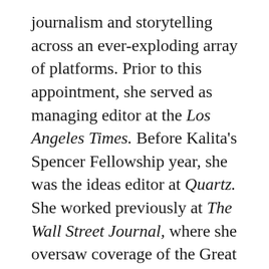journalism and storytelling across an ever-exploding array of platforms. Prior to this appointment, she served as managing editor at the Los Angeles Times. Before Kalita's Spencer Fellowship year, she was the ideas editor at Quartz. She worked previously at The Wall Street Journal, where she oversaw coverage of the Great Recession, launched a local news section for New York City and, most recently, reported on the housing crisis. She also launched Mint, a business paper in New Delhi, and has previously worked for the Washington Post, Newsday and the Associated Press. She spent her Spencer Fellowship reporting a book on school choice through the lens of one New